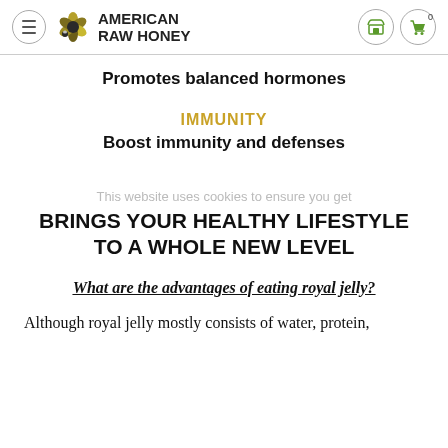American Raw Honey
Promotes balanced hormones
IMMUNITY
Boost immunity and defenses
This website uses cookies to ensure you get
BRINGS YOUR HEALTHY LIFESTYLE TO A WHOLE NEW LEVEL
What are the advantages of eating royal jelly?
Although royal jelly mostly consists of water, protein,